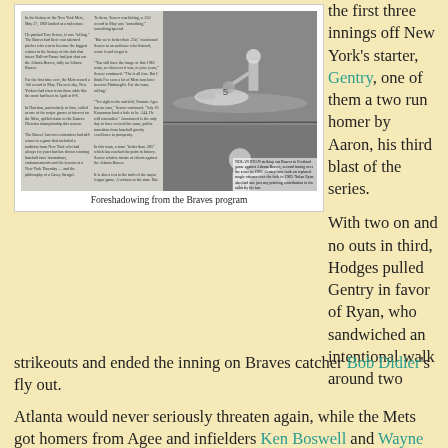[Figure (photo): Newspaper clipping and baseball action photographs from the Braves program, showing players fielding and batting]
Foreshadowing from the Braves program
the first three innings off New York's starter, Gentry, one of them a two run homer by Aaron, his third blast of the series.
With two on and no outs in third, Hodges pulled Gentry in favor of Ryan, who sandwiched an intentional walk around two strikeouts and ended the inning on Braves catcher Bob Didier's fly out.
Atlanta would never seriously threaten again, while the Mets got homers from Agee and infielders Ken Boswell and Wayne Garrett